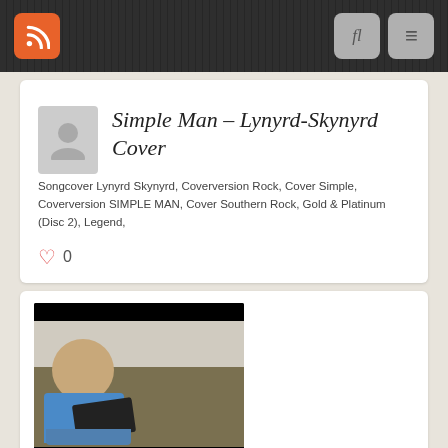Simple Man – Lynyrd-Skynyrd Cover
Songcover Lynyrd Skynyrd, Coverversion Rock, Cover Simple, Coverversion SIMPLE MAN, Cover Southern Rock, Gold & Platinum (Disc 2), Legend,
♡ 0
[Figure (photo): A man in a blue shirt sitting on a couch playing an electric guitar, with a black bar at the top and bottom of the thumbnail image.]